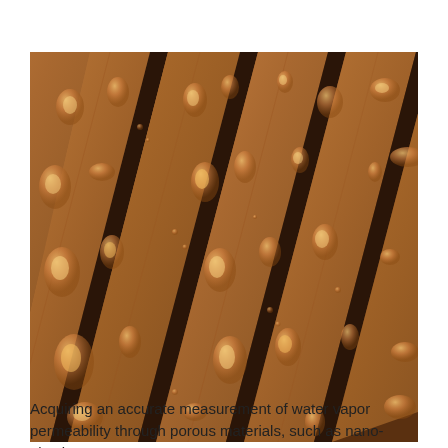[Figure (photo): Close-up photograph of wooden deck planks covered in water droplets. The parallel wood slats run diagonally from foreground to background, with numerous round water droplets beaded on the warm brown wood surface, showing water-repellent properties of the treated wood.]
Acquiring an accurate measurement of water vapor permeability through porous materials, such as nano-plastic